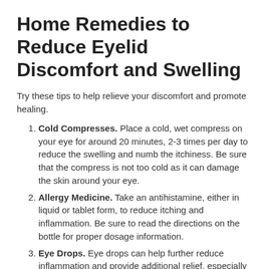Home Remedies to Reduce Eyelid Discomfort and Swelling
Try these tips to help relieve your discomfort and promote healing.
Cold Compresses. Place a cold, wet compress on your eye for around 20 minutes, 2-3 times per day to reduce the swelling and numb the itchiness. Be sure that the compress is not too cold as it can damage the skin around your eye.
Allergy Medicine. Take an antihistamine, either in liquid or tablet form, to reduce itching and inflammation. Be sure to read the directions on the bottle for proper dosage information.
Eye Drops. Eye drops can help further reduce inflammation and provide additional relief, especially if your vision is being affected. Vasoconstrictor eye drops are generally recommended to reduce the swelling of the blood vessels in the eyes. These drops should be used sparingly as they can cause adverse effects and in the long run...